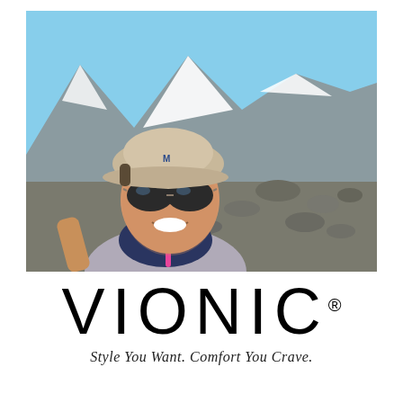[Figure (photo): A woman wearing a tan baseball cap and aviator sunglasses, smiling, taking a selfie outdoors on a rocky mountain trail with snow-capped peaks in the background under a blue sky. She is wearing a grey athletic top and a navy and pink neck gaiter.]
VIONIC®
Style You Want. Comfort You Crave.